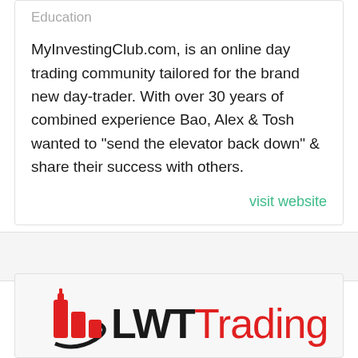Education
MyInvestingClub.com, is an online day trading community tailored for the brand new day-trader. With over 30 years of combined experience Bao, Alex & Tosh wanted to "send the elevator back down" & share their success with others.
visit website
[Figure (logo): LWT Trading logo with red candlestick chart icon and bold LWT text in black followed by Trading in red]